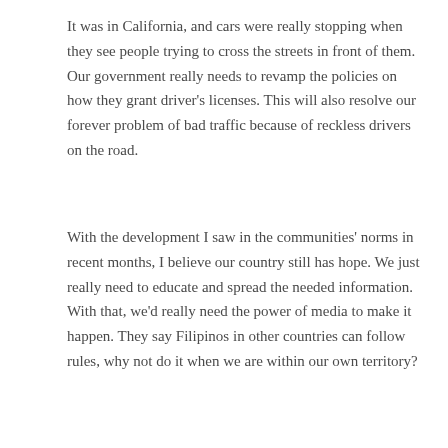It was in California, and cars were really stopping when they see people trying to cross the streets in front of them. Our government really needs to revamp the policies on how they grant driver's licenses. This will also resolve our forever problem of bad traffic because of reckless drivers on the road.
With the development I saw in the communities' norms in recent months, I believe our country still has hope. We just really need to educate and spread the needed information. With that, we'd really need the power of media to make it happen. They say Filipinos in other countries can follow rules, why not do it when we are within our own territory?